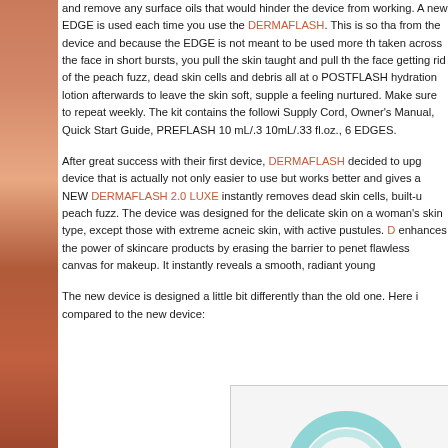and remove any surface oils that would hinder the device from working. A new EDGE is used each time you use the DERMAFLASH. This is so that from the device and because the EDGE is not meant to be used more than taken across the face in short bursts, you pull the skin taught and pull the the face getting rid of the peach fuzz, dead skin cells and debris all at on POSTFLASH hydration lotion afterwards to leave the skin soft, supple and feeling nurtured. Make sure to repeat weekly. The kit contains the following Supply Cord, Owner's Manual, Quick Start Guide, PREFLASH 10 mL/.33 10mL/.33 fl.oz., 6 EDGES.
After great success with their first device, DERMAFLASH decided to upgrade the device that is actually not only easier to use but works better and gives a NEW DERMAFLASH 2.0 LUXE instantly removes dead skin cells, built-up peach fuzz. The device was designed for the delicate skin on a woman's skin type, except those with extreme acneic skin, with active pustules. DERMAFLASH enhances the power of skincare products by erasing the barrier to penetration flawless canvas for makeup. It instantly reveals a smooth, radiant younger
The new device is designed a little bit differently than the old one. Here is compared to the new device:
[Figure (photo): Partial view of what appears to be a teal/mint colored circular device (DERMAFLASH 2.0 LUXE) shown at the bottom right of the page, partially cropped]